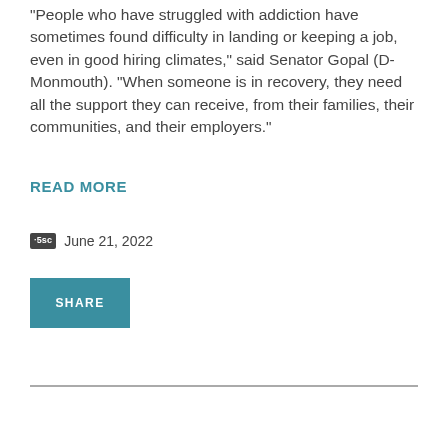“People who have struggled with addiction have sometimes found difficulty in landing or keeping a job, even in good hiring climates,” said Senator Gopal (D-Monmouth). “When someone is in recovery, they need all the support they can receive, from their families, their communities, and their employers.”
READ MORE
·5sc  June 21, 2022
SHARE